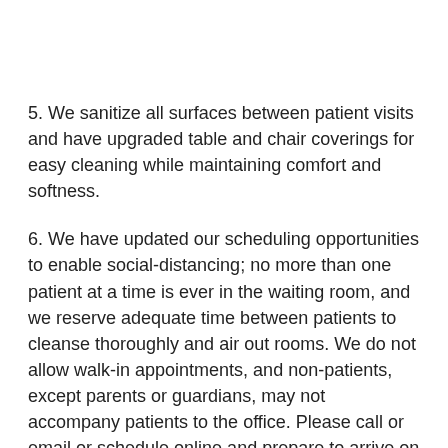5. We sanitize all surfaces between patient visits and have upgraded table and chair coverings for easy cleaning while maintaining comfort and softness.
6. We have updated our scheduling opportunities to enable social-distancing; no more than one patient at a time is ever in the waiting room, and we reserve adequate time between patients to cleanse thoroughly and air out rooms. We do not allow walk-in appointments, and non-patients, except parents or guardians, may not accompany patients to the office. Please call or email or schedule online and prepare to arrive on time for your appointment.